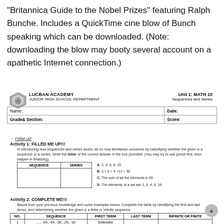“Britannica Guide to the Nobel Prizes” featuring Ralph Bunche. Includes a QuickTime cine blow of Bunch speaking which can be downloaded. (Note: downloading the blow may booty several account on a apathetic Internet connection.)
[Figure (logo): Lucban Academy Junior High School Department shield/crest logo]
LUCBAN ACADEMY JUNIOR HIGH SCHOOL DEPARTMENT
Unit 1: MATH 10 Sequences and Series
| Name: | Date: |
| --- | --- |
| Grade& Section: | Score: |
→ FIRM UP
Activity 1: FILLED ME UP!!!
In introducing how sequences and series works, let us now familiarize ourselves by classifying whether the given is a sequence or a series. Write the letter of the correct answer in the box provided. (You may try to use pencil first, then ballpen in finalizing)
| SEQUENCE | SERIES |
| --- | --- |
|  |  |
A. 2, 4, 6, 8, 10
B. 3 + 6 + 9 +12 = 30
C. The sum of all the elements is 90.
D. The elements of a set are 1, 2, 4, 8, 16.
Activity 2: COMPLETE ME!!!
Based from your previous knowledge and some examples below. Complete the table by identifying the first and last terms, and determining whether the given is a finite or infinite sequence.
| NO. | SEQUENCE | FIRST TERM | LAST TERM | INFINITE OR FINITE |
| --- | --- | --- | --- | --- |
| 1 | ... , -64, -49, -36, -25, -16 | Extended |  |  |